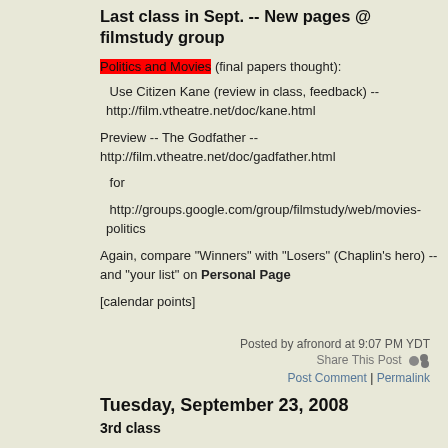Last class in Sept. -- New pages @ filmstudy group
Politics and Movies (final papers thought):
Use Citizen Kane (review in class, feedback) -- http://film.vtheatre.net/doc/kane.html
Preview -- The Godfather -- http://film.vtheatre.net/doc/gadfather.html
for
http://groups.google.com/group/filmstudy/web/movies-politics
Again, compare "Winners" with "Losers" (Chaplin's hero) -- and "your list" on Personal Page
[calendar points]
Posted by afronord at 9:07 PM YDT
Share This Post
Post Comment | Permalink
Tuesday, September 23, 2008
3rd class